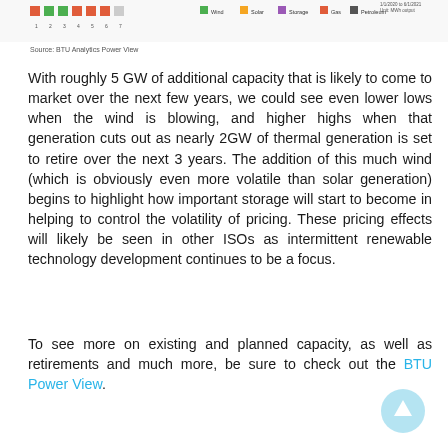[Figure (other): Chart strip showing power generation data with colored legend bars at the top of the page]
Source: BTU Analytics Power View
With roughly 5 GW of additional capacity that is likely to come to market over the next few years, we could see even lower lows when the wind is blowing, and higher highs when that generation cuts out as nearly 2GW of thermal generation is set to retire over the next 3 years. The addition of this much wind (which is obviously even more volatile than solar generation) begins to highlight how important storage will start to become in helping to control the volatility of pricing. These pricing effects will likely be seen in other ISOs as intermittent renewable technology development continues to be a focus.
To see more on existing and planned capacity, as well as retirements and much more, be sure to check out the BTU Power View.